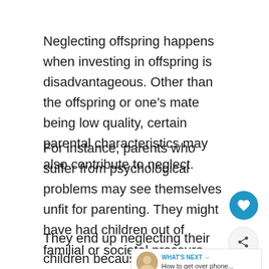Neglecting offspring happens when investing in offspring is disadvantageous. Other than the offspring or one’s mate being low quality, certain parental characteristics may also contribute to neglect.
For instance, parents who suffer from psychological problems may see themselves unfit for parenting. They might have had children out of familial or societal pressure.
They end up neglecting their children because, deep down, they believe they’re not fi… This explains why parents who neglect their